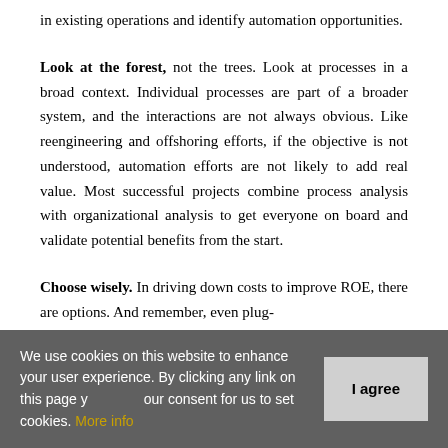in existing operations and identify automation opportunities.
Look at the forest, not the trees. Look at processes in a broad context. Individual processes are part of a broader system, and the interactions are not always obvious. Like reengineering and offshoring efforts, if the objective is not understood, automation efforts are not likely to add real value. Most successful projects combine process analysis with organizational analysis to get everyone on board and validate potential benefits from the start.
Choose wisely. In driving down costs to improve ROE, there are options. And remember, even plug-
We use cookies on this website to enhance your user experience. By clicking any link on this page you give your consent for us to set cookies. More info